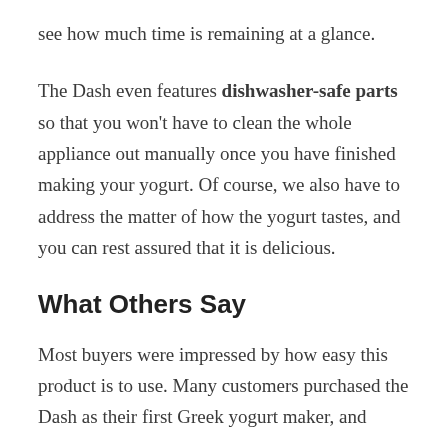see how much time is remaining at a glance.
The Dash even features dishwasher-safe parts so that you won't have to clean the whole appliance out manually once you have finished making your yogurt. Of course, we also have to address the matter of how the yogurt tastes, and you can rest assured that it is delicious.
What Others Say
Most buyers were impressed by how easy this product is to use. Many customers purchased the Dash as their first Greek yogurt maker, and